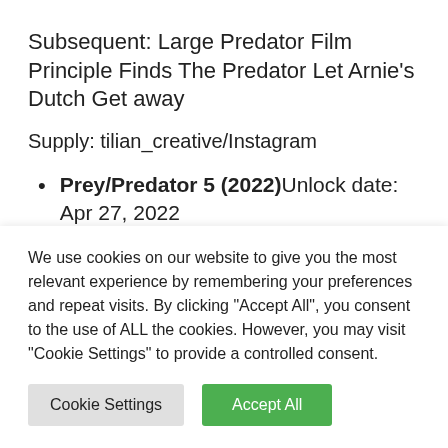Subsequent: Large Predator Film Principle Finds The Predator Let Arnie's Dutch Get away
Supply: tilian_creative/Instagram
Prey/Predator 5 (2022)Unlock date: Apr 27, 2022
[Figure (photo): Broken image placeholder with partial text: Shazam 2 Fury of the Gods new costumes]
We use cookies on our website to give you the most relevant experience by remembering your preferences and repeat visits. By clicking "Accept All", you consent to the use of ALL the cookies. However, you may visit "Cookie Settings" to provide a controlled consent.